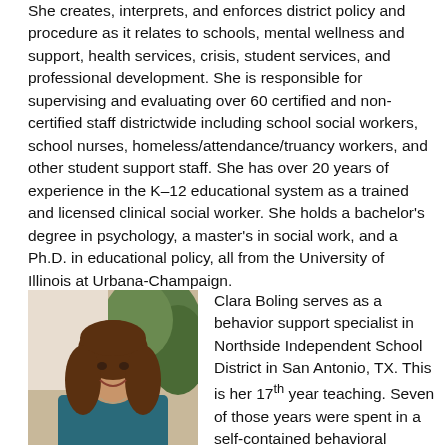She creates, interprets, and enforces district policy and procedure as it relates to schools, mental wellness and support, health services, crisis, student services, and professional development. She is responsible for supervising and evaluating over 60 certified and non-certified staff districtwide including school social workers, school nurses, homeless/attendance/truancy workers, and other student support staff. She has over 20 years of experience in the K–12 educational system as a trained and licensed clinical social worker. She holds a bachelor's degree in psychology, a master's in social work, and a Ph.D. in educational policy, all from the University of Illinois at Urbana-Champaign.
[Figure (photo): Headshot photo of Clara Boling, a woman with long brown wavy hair, smiling, wearing a teal top, with green plants in the background.]
Clara Boling serves as a behavior support specialist in Northside Independent School District in San Antonio, TX. This is her 17th year teaching. Seven of those years were spent in a self-contained behavioral